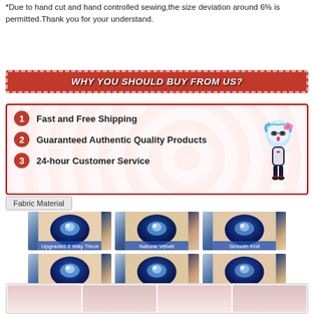*Due to hand cut and hand controlled sewing,the size deviation around 6% is permitted.Thank you for your understand.
[Figure (infographic): Red banner with dashed border reading WHY YOU SHOULD BUY FROM US?]
[Figure (infographic): Benefits box with pink checkerboard background listing: 1 Fast and Free Shipping, 2 Guaranteed Authentic Quality Products, 3 24-hour Customer Service, with anime character on the right]
Fabric Material
[Figure (infographic): Grid of 6 fabric material sample images with anime eye close-up: Upgraded 2 Way Tricot, Natural Velvet, Smooth Knit, 2 Way Tricot, Peach Skin, Waterproof Fabric]
[Figure (photo): Bottom strip showing partial product images]